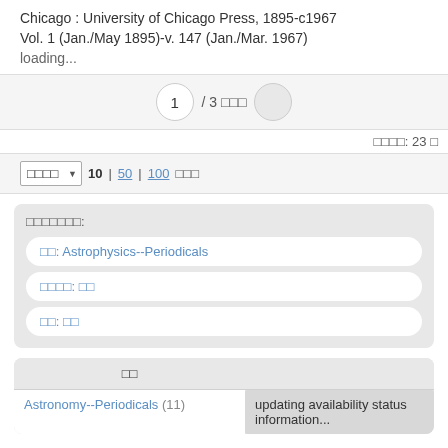Chicago : University of Chicago Press, 1895-c1967
Vol. 1 (Jan./May 1895)-v. 147 (Jan./Mar. 1967)
loading...
1 / 3 □□□ □
□□□□: 23 □
□□□□ ▼ 10 | 50 | 100 □□□
□□□□□□□:
□□: Astrophysics--Periodicals
□□□□: □□
□□: □□
| □□ |  |
| --- | --- |
| Astronomy--Periodicals (11) | updating availability status information... |